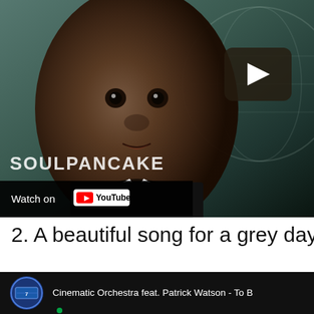[Figure (screenshot): YouTube video thumbnail showing a young Black child in a suit with 'SOULPANCAKE' text overlay, a play button in the upper right, and a 'Watch on YouTube' bar at the bottom.]
2. A beautiful song for a grey day
[Figure (screenshot): YouTube video thumbnail showing a dark background with a circular channel icon (blue/navy with white text), and title text 'Cinematic Orchestra feat. Patrick Watson - To B...']